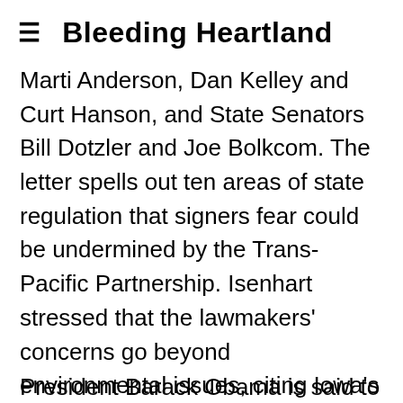≡ Bleeding Heartland
Marti Anderson, Dan Kelley and Curt Hanson, and State Senators Bill Dotzler and Joe Bolkcom. The letter spells out ten areas of state regulation that signers fear could be undermined by the Trans-Pacific Partnership. Isenhart stressed that the lawmakers' concerns go beyond environmental issues, citing Iowa's support for the biofuels industry as well as state policies to protect consumers and discourage smoking.
President Barack Obama is said to favor...